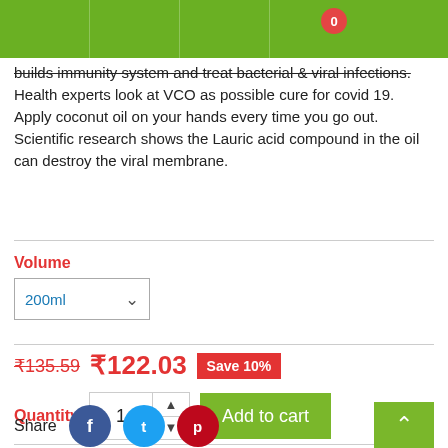Navigation bar with cart badge showing 0
builds immunity system and treat bacterial & viral infections. Health experts look at VCO as possible cure for covid 19. Apply coconut oil on your hands every time you go out. Scientific research shows the Lauric acid compound in the oil can destroy the viral membrane.
Volume
200ml
₹135.59  ₹122.03  Save 10%
Quantity  1  Add to cart
Item is in Stock. You may order.
Share